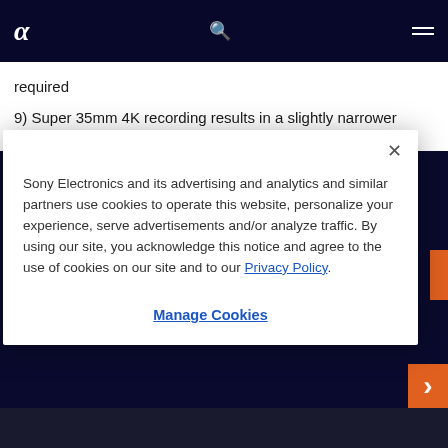α [Sony Alpha logo] [search icon] [menu icon]
required
9) Super 35mm 4K recording results in a slightly narrower angle of view.
Sony Electronics and its advertising and analytics and similar partners use cookies to operate this website, personalize your experience, serve advertisements and/or analyze traffic. By using our site, you acknowledge this notice and agree to the use of cookies on our site and to our Privacy Policy.
Manage Cookies